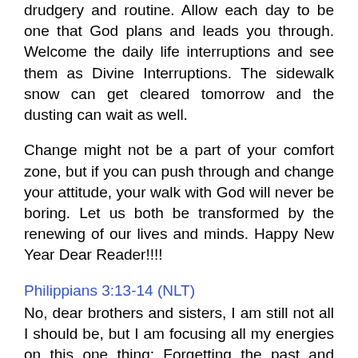drudgery and routine. Allow each day to be one that God plans and leads you through. Welcome the daily life interruptions and see them as Divine Interruptions. The sidewalk snow can get cleared tomorrow and the dusting can wait as well.
Change might not be a part of your comfort zone, but if you can push through and change your attitude, your walk with God will never be boring. Let us both be transformed by the renewing of our lives and minds. Happy New Year Dear Reader!!!!
Philippians 3:13-14 (NLT)
No, dear brothers and sisters, I am still not all I should be, but I am focusing all my energies on this one thing: Forgetting the past and looking forward to what lies ahead, I strain to reach the end of the race and receive the prize for which God, through Christ Jesus, is calling us up to heaven.